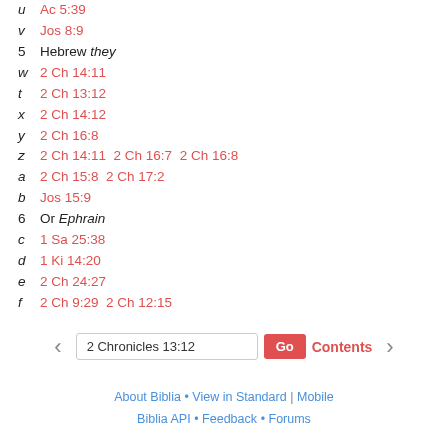u  Ac 5:39
v  Jos 8:9
5  Hebrew they
w  2 Ch 14:11
t  2 Ch 13:12
x  2 Ch 14:12
y  2 Ch 16:8
z  2 Ch 14:11 2 Ch 16:7 2 Ch 16:8
a  2 Ch 15:8 2 Ch 17:2
b  Jos 15:9
6  Or Ephrain
c  1 Sa 25:38
d  1 Ki 14:20
e  2 Ch 24:27
f  2 Ch 9:29 2 Ch 12:15
2 Chronicles 13:12
About Biblia • View in Standard | Mobile
Biblia API • Feedback • Forums